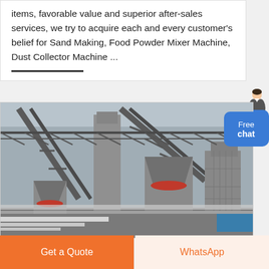items, favorable value and superior after-sales services, we try to acquire each and every customer's belief for Sand Making, Food Powder Mixer Machine, Dust Collector Machine ...
[Figure (photo): Industrial machinery site showing large cone crushers, conveyor belts, steel frames and industrial equipment at a mining or sand-making facility.]
Free chat
Get a Quote
WhatsApp